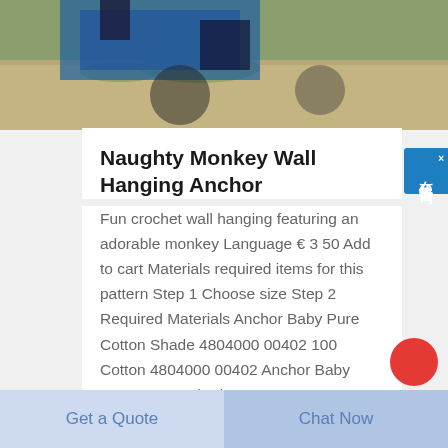[Figure (photo): Outdoor scene with blue machinery and gravel/dirt ground, partially visible at top of page]
Naughty Monkey Wall Hanging Anchor
Fun crochet wall hanging featuring an adorable monkey Language € 3 50 Add to cart Materials required items for this pattern Step 1 Choose size Step 2 Required Materials Anchor Baby Pure Cotton Shade 4804000 00402 100 Cotton 4804000 00402 Anchor Baby Pure Cotton Shade 4804000 00107 100 Cotton 4804000 00107 Anchor
[Figure (other): Chinese language chat/consultation sidebar button with close X, text 在线咨询]
Get a Quote
Chat Now